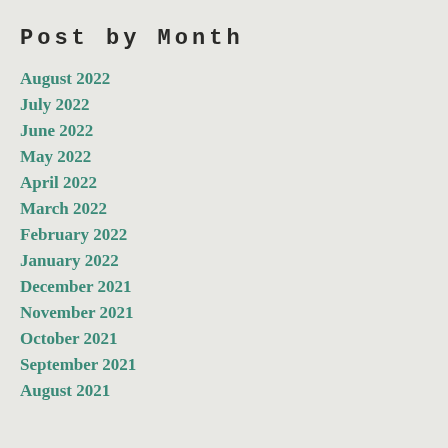Post by Month
August 2022
July 2022
June 2022
May 2022
April 2022
March 2022
February 2022
January 2022
December 2021
November 2021
October 2021
September 2021
August 2021